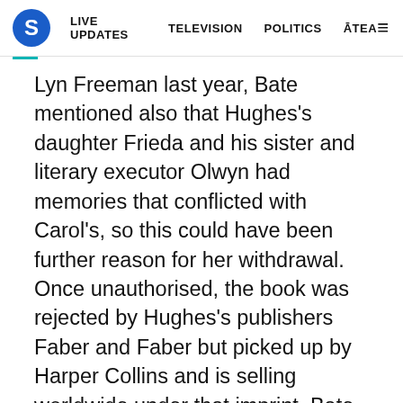S  LIVE UPDATES  TELEVISION  POLITICS  ĀTEA  ≡
Lyn Freeman last year, Bate mentioned also that Hughes's daughter Frieda and his sister and literary executor Olwyn had memories that conflicted with Carol's, so this could have been further reason for her withdrawal. Once unauthorised, the book was rejected by Hughes's publishers Faber and Faber but picked up by Harper Collins and is selling worldwide under that imprint. Bate remarked in the same interview that after word spread that the book had lost Carol's support he was approached by various of Ted's friends, family members and ex-lovers, happier to talk to him now that he had a freer rein. It will be interesting to see if sales figures approach those